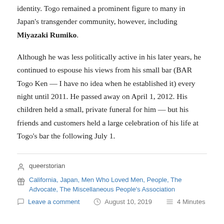identity. Togo remained a prominent figure to many in Japan's transgender community, however, including Miyazaki Rumiko.
Although he was less politically active in his later years, he continued to espouse his views from his small bar (BAR Togo Ken — I have no idea when he established it) every night until 2011. He passed away on April 1, 2012. His children held a small, private funeral for him — but his friends and customers held a large celebration of his life at Togo's bar the following July 1.
queerstorian
California, Japan, Men Who Loved Men, People, The Advocate, The Miscellaneous People's Association
Leave a comment  August 10, 2019  4 Minutes